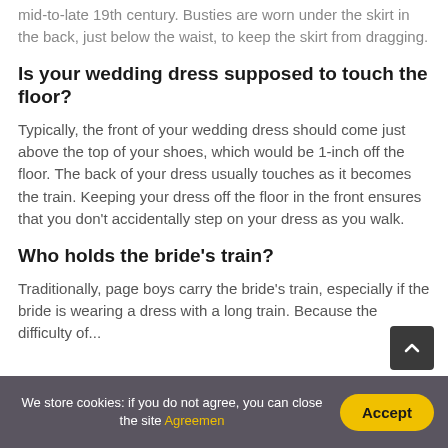mid-to-late 19th century. Busties are worn under the skirt in the back, just below the waist, to keep the skirt from dragging.
Is your wedding dress supposed to touch the floor?
Typically, the front of your wedding dress should come just above the top of your shoes, which would be 1-inch off the floor. The back of your dress usually touches as it becomes the train. Keeping your dress off the floor in the front ensures that you don't accidentally step on your dress as you walk.
Who holds the bride's train?
Traditionally, page boys carry the bride's train, especially if the bride is wearing a dress with a long train. Because the difficulty of...